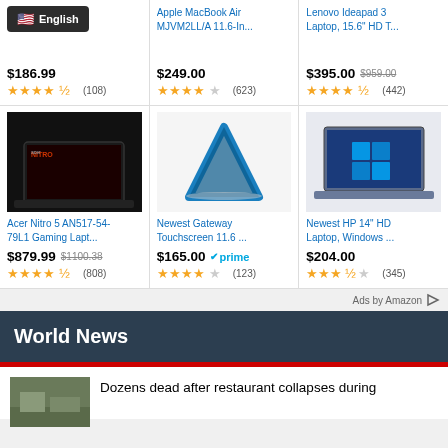[Figure (screenshot): Top product row: first cell shows language selector overlay (English/US flag), price $186.99, 4.5 stars (108). Second cell shows Apple MacBook Air MJVM2LL/A 11.6-In..., $249.00, 4 stars (623). Third cell shows Lenovo Ideapad 3 Laptop, 15.6" HD T..., $395.00 was $959.00, 4.5 stars (442).]
[Figure (screenshot): Bottom product row: Acer Nitro 5 AN517-54-79L1 Gaming Lapt..., $879.99 was $1100.38, 4.5 stars (808). Newest Gateway Touchscreen 11.6..., $165.00 with Prime, 4 stars (123). Newest HP 14" HD Laptop, Windows..., $204.00, 3.5 stars (345).]
Ads by Amazon
World News
Dozens dead after restaurant collapses during